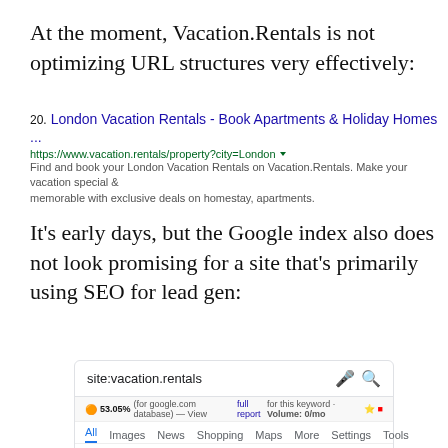At the moment, Vacation.Rentals is not optimizing URL structures very effectively:
[Figure (screenshot): Google search result snippet showing result #20: 'London Vacation Rentals - Book Apartments & Holiday Homes ...' at https://www.vacation.rentals/property?city=London with description 'Find and book your London Vacation Rentals on Vacation.Rentals. Make your vacation special & memorable with exclusive deals on homestay, apartments.']
It's early days, but the Google index also does not look promising for a site that's primarily using SEO for lead gen:
[Figure (screenshot): Google search bar showing query 'site:vacation.rentals' with SEMrush bar showing '53.05% (for google.com database) — View full report for this keyword · Volume: 0/mo' and tabs: All, Images, News, Shopping, Maps, More, Settings, Tools. Results showing 'About 153 results (0.13 seconds)']